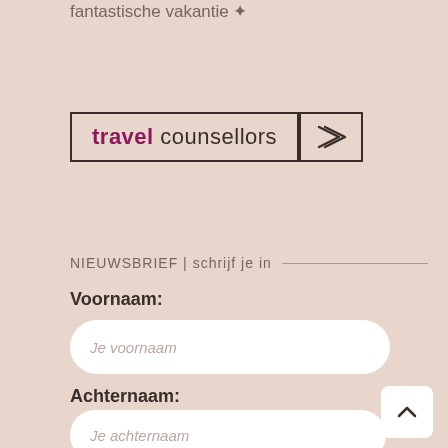fantastische vakantie ✦
[Figure (logo): Travel Counsellors logo with arrow button — 'travel' in bold magenta, 'counsellors' in dark brown, bordered rectangle with adjacent arrow box]
NIEUWSBRIEF | schrijf je in
Voornaam:
Je voornaam
Achternaam:
Je achternaam